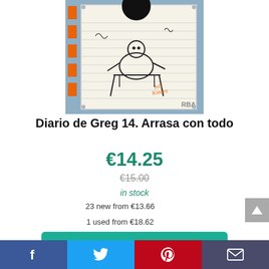[Figure (photo): Book cover of 'Diario de Greg 14. Arrasa con todo' by Jeff Kinney, published by RBA. Shows a cartoon character on a denim-textured background with orange strips on the left side.]
Diario de Greg 14. Arrasa con todo
€14.25
€15.00
in stock
23 new from €13.66
1 used from €18.62
as of abril 17, 2021 3:24 am ℹ
Consultar precio en Amazon
Amazon.es
Free shipping